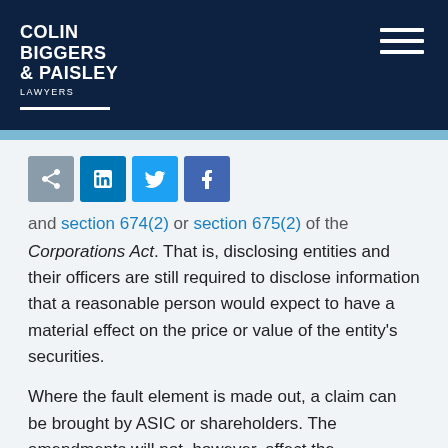COLIN BIGGERS & PAISLEY LAWYERS
[Figure (infographic): Social sharing icons: share (grey), LinkedIn (blue), Twitter (light blue), Facebook (purple-blue)]
and section 674(2) or section 675(2) of the Corporations Act. That is, disclosing entities and their officers are still required to disclose information that a reasonable person would expect to have a material effect on the price or value of the entity's securities.
Where the fault element is made out, a claim can be brought by ASIC or shareholders. The amendments will not, however, affect the Commonwealth's ability to prosecute criminal breaches. It will also not affect ASIC's ability to issue infringement notices and administrative penalties without proving fault.